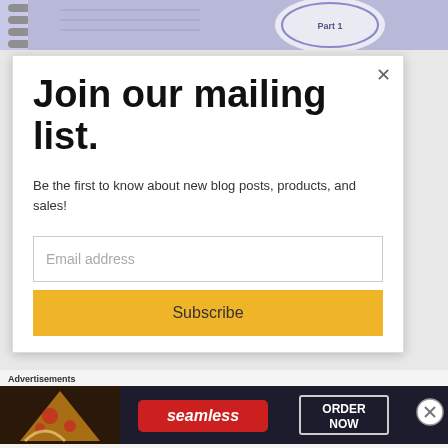[Figure (photo): Top strip showing a purple/lavender spiral notebook with 'Part 1' text visible]
Join our mailing list.
Be the first to know about new blog posts, products, and sales!
Email address
Subscribe
Advertisements
[Figure (photo): Seamless food delivery advertisement banner showing pizza slices, Seamless logo, and ORDER NOW button on dark background]